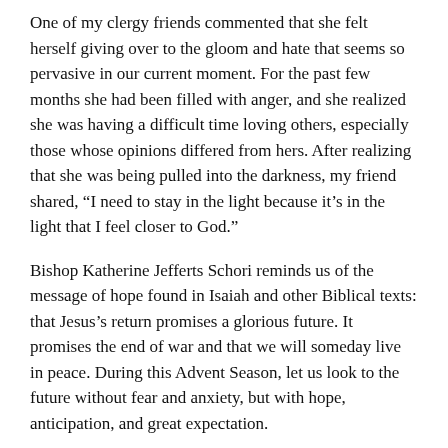One of my clergy friends commented that she felt herself giving over to the gloom and hate that seems so pervasive in our current moment. For the past few months she had been filled with anger, and she realized she was having a difficult time loving others, especially those whose opinions differed from hers. After realizing that she was being pulled into the darkness, my friend shared, “I need to stay in the light because it’s in the light that I feel closer to God.”
Bishop Katherine Jefferts Schori reminds us of the message of hope found in Isaiah and other Biblical texts: that Jesus’s return promises a glorious future. It promises the end of war and that we will someday live in peace. During this Advent Season, let us look to the future without fear and anxiety, but with hope, anticipation, and great expectation.
Prayer: Holy God, as we await your return, may our hearts be filled with your love, hope, joy, and peace. Amen